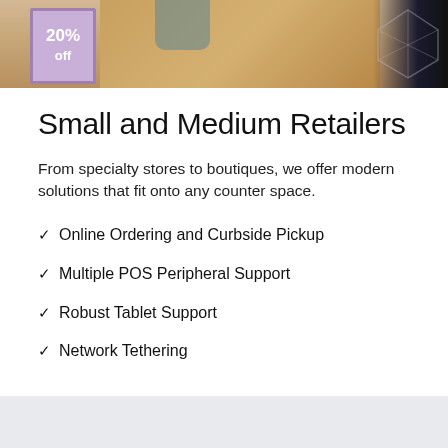[Figure (photo): Retail store scene showing a framed 20% off sign on a wooden counter, with a dark-clothed figure partially visible on the right and a watermark overlay in the top right corner.]
Small and Medium Retailers
From specialty stores to boutiques, we offer modern solutions that fit onto any counter space.
Online Ordering and Curbside Pickup
Multiple POS Peripheral Support
Robust Tablet Support
Network Tethering